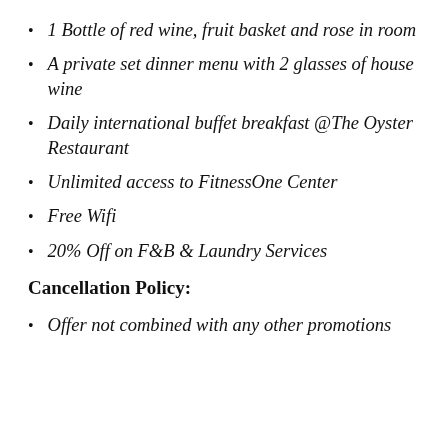1 Bottle of red wine, fruit basket and rose in room
A private set dinner menu with 2 glasses of house wine
Daily international buffet breakfast @The Oyster Restaurant
Unlimited access to FitnessOne Center
Free Wifi
20% Off on F&B & Laundry Services
Cancellation Policy:
Offer not combined with any other promotions